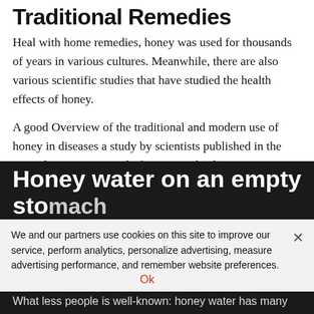Traditional Remedies
Heal with home remedies, honey was used for thousands of years in various cultures. Meanwhile, there are also various scientific studies that have studied the health effects of honey.
A good Overview of the traditional and modern use of honey in diseases a study by scientists published in the journal "Iranian Journal of Basic Medical Sciences".
The experts, including inter alia the use of the Indian healing art of Ayurveda, in ancient Egypt, or Islamic medicine. Diseases discussed, for example, the effect of gastric-intestinal complaints, or against fungal.
We and our partners use cookies on this site to improve our service, perform analytics, personalize advertising, measure advertising performance, and remember website preferences.
Honey water on an empty stomach
What less people is well-known: honey water has many